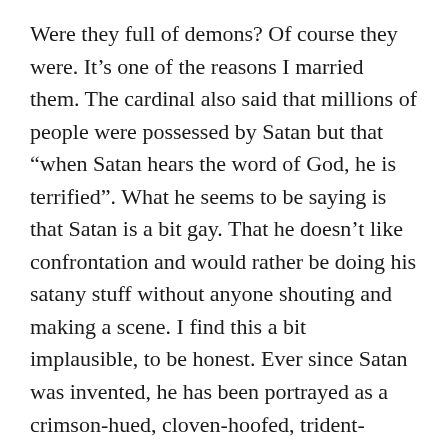Were they full of demons? Of course they were. It’s one of the reasons I married them. The cardinal also said that millions of people were possessed by Satan but that “when Satan hears the word of God, he is terrified”. What he seems to be saying is that Satan is a bit gay. That he doesn’t like confrontation and would rather be doing his satany stuff without anyone shouting and making a scene. I find this a bit implausible, to be honest. Ever since Satan was invented, he has been portrayed as a crimson-hued, cloven-hoofed, trident-wielding beast with horns, uglier than Donald Trump but less narcissistic. I imagine that Satan, like Patricia de Lille, is not easily terrified.